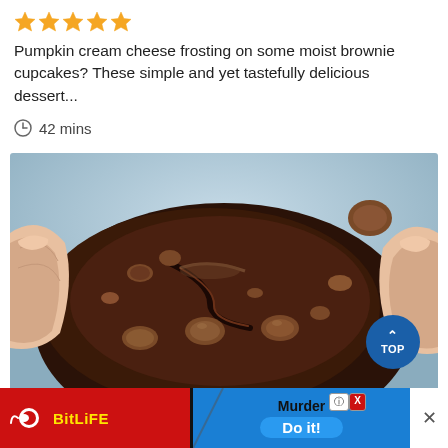[Figure (other): Five gold/yellow star rating icons]
Pumpkin cream cheese frosting on some moist brownie cupcakes? These simple and yet tastefully delicious dessert...
42 mins
[Figure (photo): Close-up photo of a chocolate brownie cookie with chocolate chips being pulled apart by hands, showing gooey fudgy interior. A blue 'TOP' button overlays the bottom-right corner.]
[Figure (screenshot): Advertisement banner for BitLife mobile game showing 'Murder Do it!' prompt with a close button X]